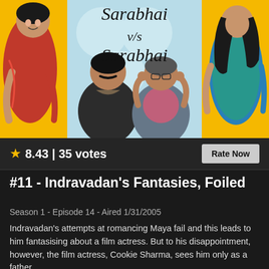[Figure (photo): Sarabhai vs Sarabhai TV show banner with cast members. Yellow background on sides, light blue poster in center with show title in italic script. Left: woman in red saree. Right: woman in blue outfit. Center bottom: two men, one in black suit, one in grey jacket with hands on head.]
★ 8.43 | 35 votes
Rate Now
#11 - Indravadan's Fantasies, Foiled
Season 1 - Episode 14 - Aired 1/31/2005
Indravadan's attempts at romancing Maya fail and this leads to him fantasising about a film actress. But to his disappointment, however, the film actress, Cookie Sharma, sees him only as a father